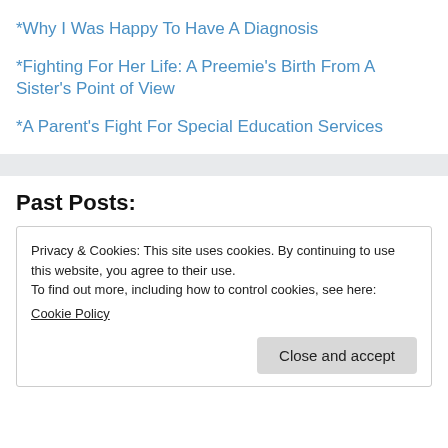*Why I Was Happy To Have A Diagnosis
*Fighting For Her Life: A Preemie's Birth From A Sister's Point of View
*A Parent's Fight For Special Education Services
Past Posts:
Privacy & Cookies: This site uses cookies. By continuing to use this website, you agree to their use.
To find out more, including how to control cookies, see here:
Cookie Policy